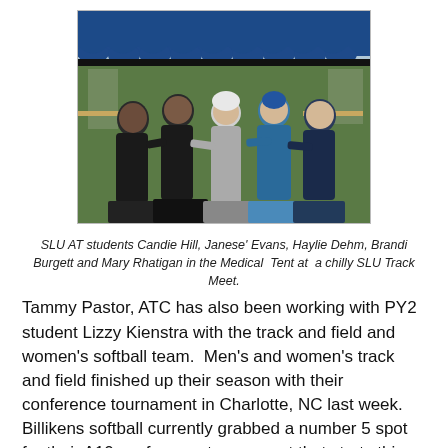[Figure (photo): Five SLU AT students (Candie Hill, Janese' Evans, Haylie Dehm, Brandi Burgett, and Mary Rhatigan) posing together under a blue tent at a track meet.]
SLU AT students Candie Hill, Janese' Evans, Haylie Dehm, Brandi Burgett and Mary Rhatigan in the Medical  Tent at  a chilly SLU Track Meet.
Tammy Pastor, ATC has also been working with PY2 student Lizzy Kienstra with the track and field and women's softball team.  Men's and women's track and field finished up their season with their conference tournament in Charlotte, NC last week.  Billikens softball currently grabbed a number 5 spot for their A10 conference tournament that starts this week.  These girls have worked so hard this season; we are excited to see how well they will do in Amherst.